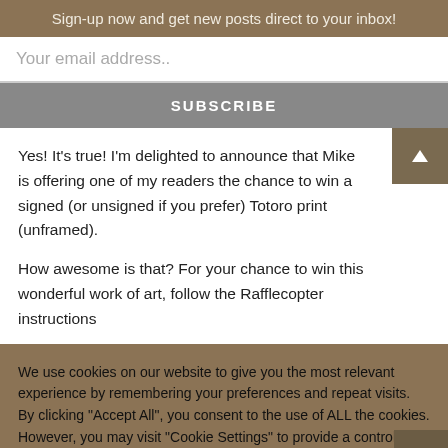Sign-up now and get new posts direct to your inbox!
Your email address..
SUBSCRIBE
Yes! It's true! I'm delighted to announce that Mike is offering one of my readers the chance to win a signed (or unsigned if you prefer) Totoro print (unframed).

How awesome is that? For your chance to win this wonderful work of art, follow the Rafflecopter instructions
We use cookies on our website to give you the most relevant experience by remembering your preferences and repeat visits. By clicking "Accept All", you consent to the use of ALL the cookies. However, you may visit "Cookie Settings" to provide a controlled consent.
Cookie Settings
Accept All